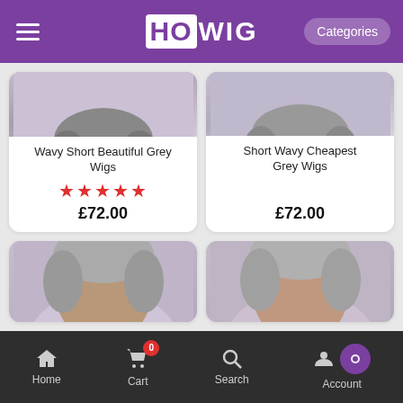HOWIG - Categories
[Figure (photo): Woman wearing Wavy Short Beautiful Grey Wig, short pixie-style grey wig on dark-skinned woman in floral top]
Wavy Short Beautiful Grey Wigs
★★★★★
£72.00
[Figure (photo): Woman wearing Short Wavy Cheapest Grey Wig, short grey wig on woman in dark top]
Short Wavy Cheapest Grey Wigs
£72.00
[Figure (photo): Partially visible product card at bottom left]
[Figure (photo): Partially visible product card at bottom right]
Home  Cart 0  Search  Account